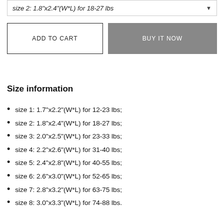size 2: 1.8"x2.4"(W*L) for 18-27 lbs
ADD TO CART
BUY IT NOW
Size information
size 1: 1.7"x2.2"(W*L) for 12-23 lbs;
size 2: 1.8"x2.4"(W*L) for 18-27 lbs;
size 3: 2.0"x2.5"(W*L) for 23-33 lbs;
size 4: 2.2"x2.6"(W*L) for 31-40 lbs;
size 5: 2.4"x2.8"(W*L) for 40-55 lbs;
size 6: 2.6"x3.0"(W*L) for 52-65 lbs;
size 7: 2.8"x3.2"(W*L) for 63-75 lbs;
size 8: 3.0"x3.3"(W*L) for 74-88 lbs.